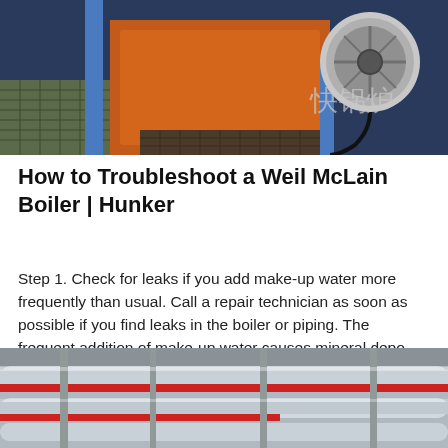[Figure (photo): Industrial boiler equipment with orange casing and a large motor/fan, with Chinese characters visible in the background]
How to Troubleshoot a Weil McLain Boiler | Hunker
Step 1. Check for leaks if you add make-up water more frequently than usual. Call a repair technician as soon as possible if you find leaks in the boiler or piping. The frequent addition of make-up water causes mineral depo…
[Figure (infographic): Get Price button (blue), WhatsApp icon (green), and Contact us now! button (green)]
[Figure (photo): Industrial piping system with silver insulated pipes and red pipes running along a ceiling or industrial structure]